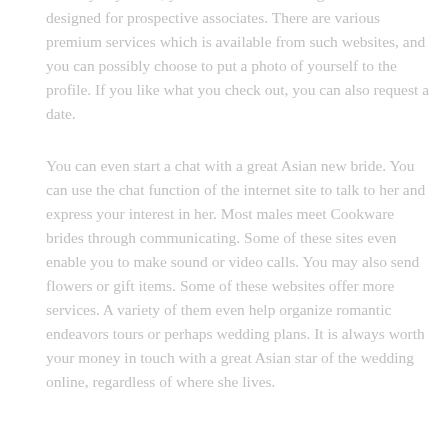friendly. The only thing you need to fill out is the email and delivery day. Then, you could start searching the database designed for prospective associates. There are various premium services which is available from such websites, and you can possibly choose to put a photo of yourself to the profile. If you like what you check out, you can also request a date.
You can even start a chat with a great Asian new bride. You can use the chat function of the internet site to talk to her and express your interest in her. Most males meet Cookware brides through communicating. Some of these sites even enable you to make sound or video calls. You may also send flowers or gift items. Some of these websites offer more services. A variety of them even help organize romantic endeavors tours or perhaps wedding plans. It is always worth your money in touch with a great Asian star of the wedding online, regardless of where she lives.